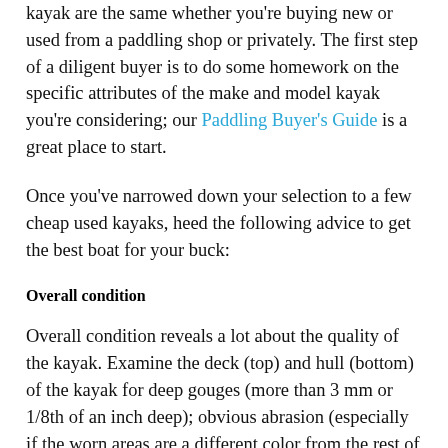kayak are the same whether you're buying new or used from a paddling shop or privately. The first step of a diligent buyer is to do some homework on the specific attributes of the make and model kayak you're considering; our Paddling Buyer's Guide is a great place to start.
Once you've narrowed down your selection to a few cheap used kayaks, heed the following advice to get the best boat for your buck:
Overall condition
Overall condition reveals a lot about the quality of the kayak. Examine the deck (top) and hull (bottom) of the kayak for deep gouges (more than 3 mm or 1/8th of an inch deep); obvious abrasion (especially if the worn areas are a different color from the rest of the kayak); deformities